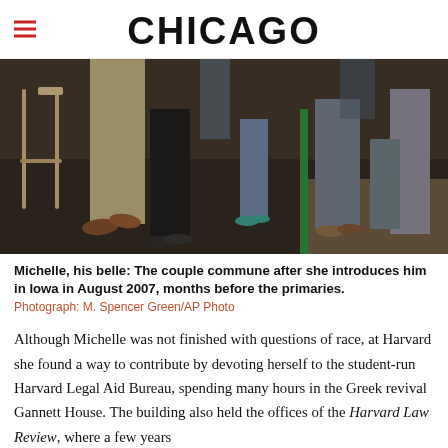CHICAGO
[Figure (photo): Close-up photo of legs and feet of people at an outdoor event in Iowa, August 2007. A man in khaki pants and brown shoes is visible alongside a woman in black pants and flat shoes. Bar stools and other attendees' legs visible in background.]
Michelle, his belle: The couple commune after she introduces him in Iowa in August 2007, months before the primaries.
Photograph: M. Spencer Green/AP Photo
Although Michelle was not finished with questions of race, at Harvard she found a way to contribute by devoting herself to the student-run Harvard Legal Aid Bureau, spending many hours in the Greek revival Gannett House. The building also held the offices of the Harvard Law Review, where a few years